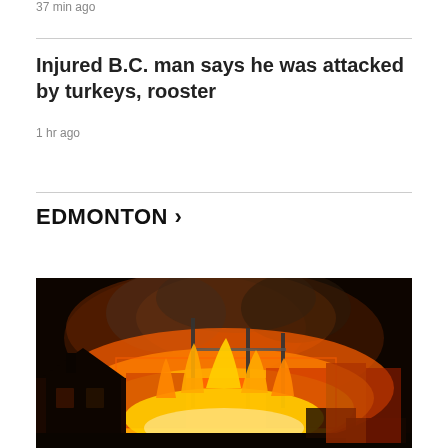37 min ago
Injured B.C. man says he was attacked by turkeys, rooster
1 hr ago
EDMONTON >
[Figure (photo): Night-time photo of a large building fire with bright orange flames consuming a structure, with a house silhouetted in the foreground and smoke rising against a dark sky]